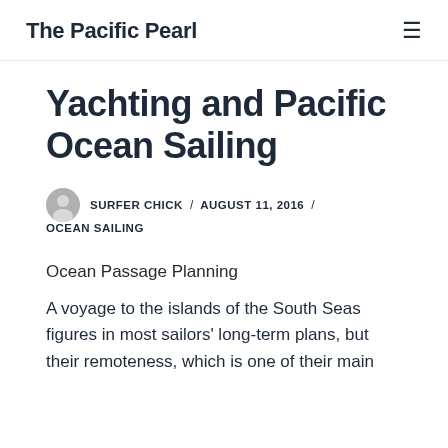The Pacific Pearl
Yachting and Pacific Ocean Sailing
SURFER CHICK / AUGUST 11, 2016 / OCEAN SAILING
Ocean Passage Planning
A voyage to the islands of the South Seas figures in most sailors' long-term plans, but their remoteness, which is one of their main